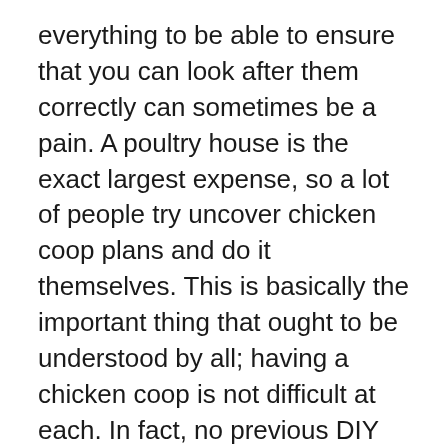everything to be able to ensure that you can look after them correctly can sometimes be a pain. A poultry house is the exact largest expense, so a lot of people try uncover chicken coop plans and do it themselves. This is basically the important thing that ought to be understood by all; having a chicken coop is not difficult at each. In fact, no previous DIY experience is should be able develop one right.
The best chicken coops will have good weather protection, be warm enough in winter and cool enough in summer, be sturdy, have all the necessary ramps and perches, have provision for food and water, easy egg collection – record is substantial long another. Many, if not most, free chicken